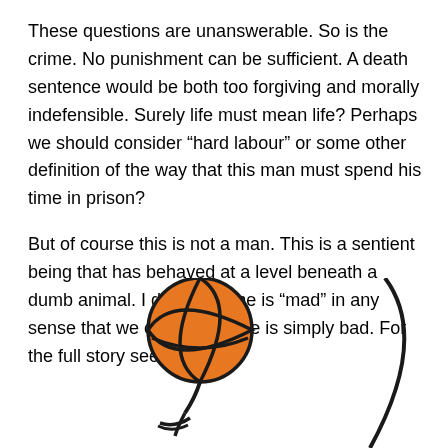These questions are unanswerable. So is the crime.  No punishment can be sufficient.  A death sentence would be both too forgiving and morally indefensible.  Surely life must mean life?  Perhaps we should consider “hard labour” or some other definition of the way that this man must spend his time in prison?
But of course this is not a man.  This is a sentient being that has behaved at a level beneath a dumb animal.  I doubt that he is “mad” in any sense that we can define.  He is simply bad.  For the full story see here.
[Figure (illustration): A stick figure illustration of a person spinning a basketball on their finger. The basketball is orange with black curved lines. The figure's arm extends upward with the ball balanced on a fingertip. A large curved black arc extends to the right side of the image.]